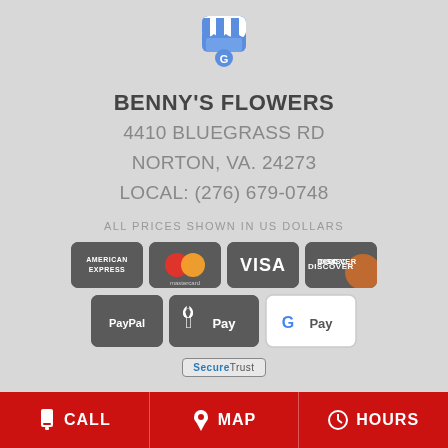[Figure (logo): Google My Business store icon with blue/white awning and white G letter]
BENNY'S FLOWERS
4410 BLUEGRASS RD
NORTON, VA. 24273
LOCAL: (276) 679-0748
ALL PRICES SHOWN IN US DOLLARS
[Figure (logo): Payment method icons: American Express, Mastercard, Visa, Discover, PayPal, Apple Pay, Google Pay]
[Figure (logo): SecureTrust badge]
CALL   MAP   HOURS